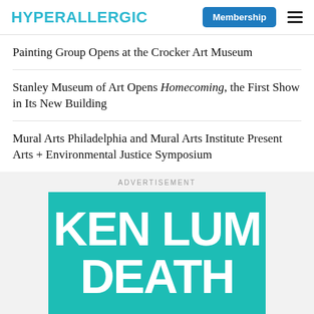HYPERALLERGIC
Painting Group Opens at the Crocker Art Museum
Stanley Museum of Art Opens Homecoming, the First Show in Its New Building
Mural Arts Philadelphia and Mural Arts Institute Present Arts + Environmental Justice Symposium
ADVERTISEMENT
[Figure (illustration): Advertisement image with teal background showing large white bold text 'KEN LUM DEATH']